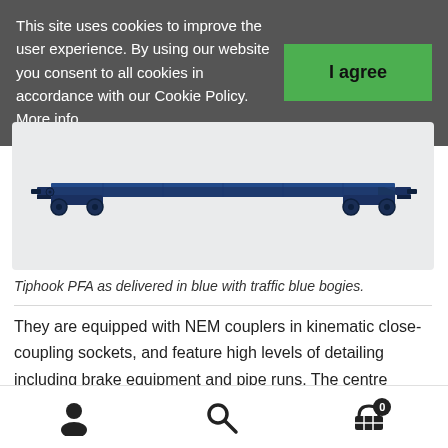This site uses cookies to improve the user experience. By using our website you consent to all cookies in accordance with our Cookie Policy. More info
[Figure (photo): Tiphook PFA flatcar model train in blue with traffic blue bogies, shown on white background]
Tiphook PFA as delivered in blue with traffic blue bogies.
They are equipped with NEM couplers in kinematic close-coupling sockets, and feature high levels of detailing including brake equipment and pipe runs.  The centre
User icon | Search icon | Cart icon with 0 badge